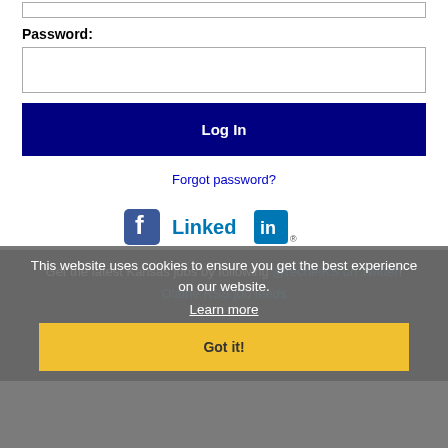[input box top]
Password:
[password input box]
Log In
Forgot password?
[Figure (screenshot): Facebook and LinkedIn social icons]
Get the latest Kansas jobs by following @recnetKS on Twitter!
Olathe RSS job feeds
This website uses cookies to ensure you get the best experience on our website.
Learn more
Got it!